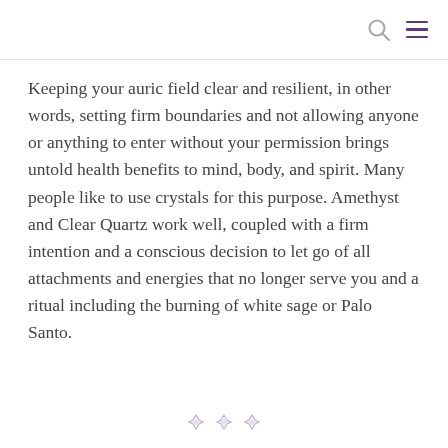[search icon] [menu icon]
Keeping your auric field clear and resilient, in other words, setting firm boundaries and not allowing anyone or anything to enter without your permission brings untold health benefits to mind, body, and spirit. Many people like to use crystals for this purpose. Amethyst and Clear Quartz work well, coupled with a firm intention and a conscious decision to let go of all attachments and energies that no longer serve you and a ritual including the burning of white sage or Palo Santo.